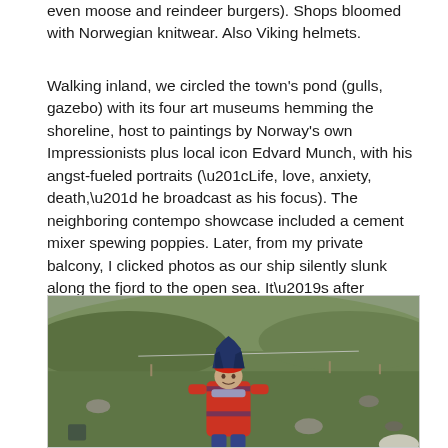even moose and reindeer burgers). Shops bloomed with Norwegian knitwear. Also Viking helmets.
Walking inland, we circled the town's pond (gulls, gazebo) with its four art museums hemming the shoreline, host to paintings by Norway's own Impressionists plus local icon Edvard Munch, with his angst-fueled portraits (“Life, love, anxiety, death,” he broadcast as his focus). The neighboring contempo showcase included a cement mixer spewing poppies. Later, from my private balcony, I clicked photos as our ship silently slunk along the fjord to the open sea. It’s after midnight, but kayakers paddle by.
[Figure (photo): A person wearing a red jacket and a distinctive dark blue pointed hat standing in a hilly, rocky, green landscape. The terrain appears to be Norwegian countryside or moorland.]